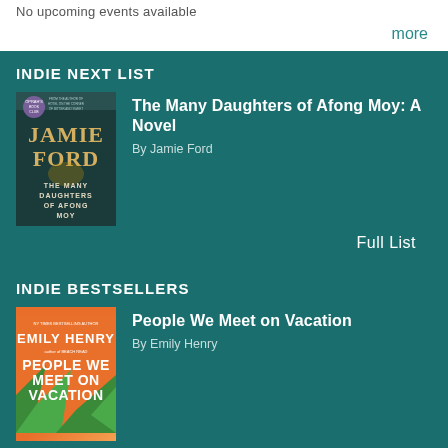No upcoming events available
more
INDIE NEXT LIST
[Figure (illustration): Book cover for The Many Daughters of Afong Moy by Jamie Ford — dark cover with gold text]
The Many Daughters of Afong Moy: A Novel
By Jamie Ford
Full List
INDIE BESTSELLERS
[Figure (illustration): Book cover for People We Meet on Vacation by Emily Henry — orange cover with tropical leaves]
People We Meet on Vacation
By Emily Henry